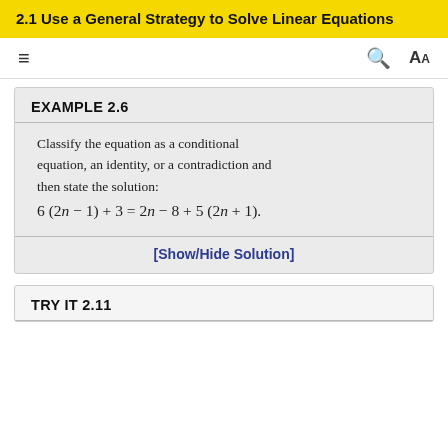2.1 Use a General Strategy to Solve Linear Equations
EXAMPLE 2.6
Classify the equation as a conditional equation, an identity, or a contradiction and then state the solution:
[Show/Hide Solution]
TRY IT 2.11